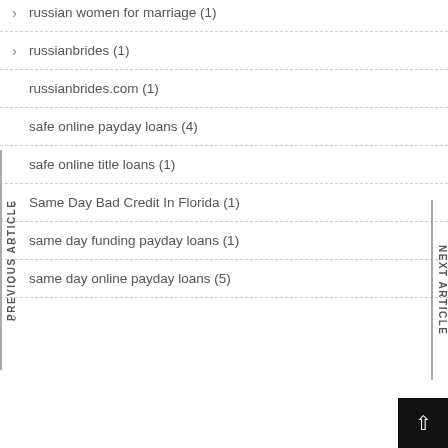russian women for marriage (1)
russianbrides (1)
russianbrides.com (1)
safe online payday loans (4)
safe online title loans (1)
Same Day Bad Credit In Florida (1)
same day funding payday loans (1)
same day online payday loans (5)